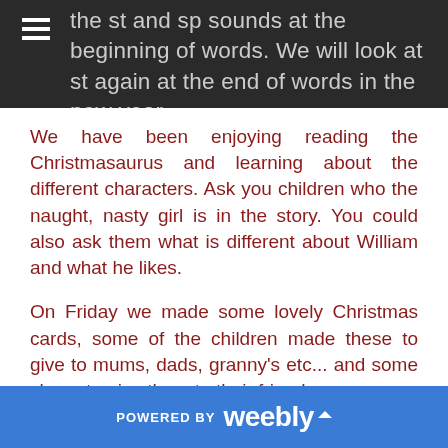the st and sp sounds at the beginning of words. We will look at st again at the end of words in the new year.
We have been enjoying reading the Christmasaurus and learning about the different characters. Ask you children who the naught, nasty girl is in the story. You could also ask them what is different about William and what he likes.
On Friday we made some lovely Christmas cards, some of the children made these to give to mums, dads, granny's etc... and some chose to give them to their friends.
We have been practising our song for the Christmas
POWERED BY weebly